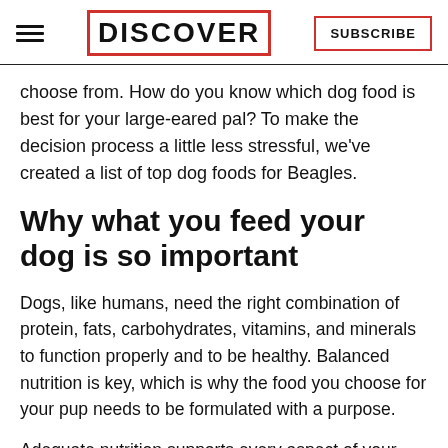DISCOVER | SUBSCRIBE
choose from. How do you know which dog food is best for your large-eared pal? To make the decision process a little less stressful, we've created a list of top dog foods for Beagles.
Why what you feed your dog is so important
Dogs, like humans, need the right combination of protein, fats, carbohydrates, vitamins, and minerals to function properly and to be healthy. Balanced nutrition is key, which is why the food you choose for your pup needs to be formulated with a purpose.
Adequate nutrition supports every aspect of your dog's health. For example, food with the right